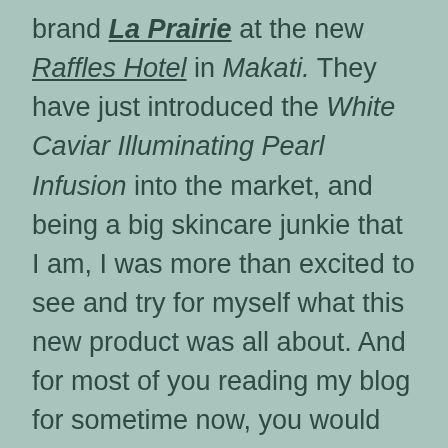brand La Prairie at the new Raffles Hotel in Makati. They have just introduced the White Caviar Illuminating Pearl Infusion into the market, and being a big skincare junkie that I am, I was more than excited to see and try for myself what this new product was all about. And for most of you reading my blog for sometime now, you would know my history with this brand. Yes we go a long way back! I first discovered La Prairie when I was still in college, when my mom would give me her free samples to try. Ever since then, I would use the brand's skincare products, with their eye cream